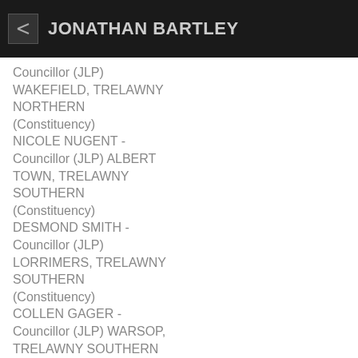JONATHAN BARTLEY
Councillor (JLP) WAKEFIELD, TRELAWNY NORTHERN (Constituency)
NICOLE NUGENT - Councillor (JLP) ALBERT TOWN, TRELAWNY SOUTHERN (Constituency)
DESMOND SMITH - Councillor (JLP) LORRIMERS, TRELAWNY SOUTHERN (Constituency)
COLLEN GAGER - Councillor (JLP) WARSOP, TRELAWNY SOUTHERN